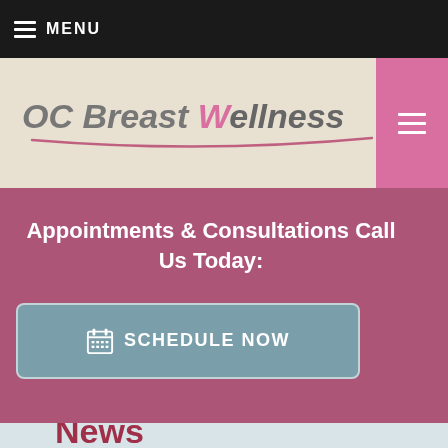MENU
[Figure (logo): OC Breast Wellness logo with stylized pink W and curved underline, on beige background]
Appointments & Consultations Call Us Today:
SCHEDULE NOW
News